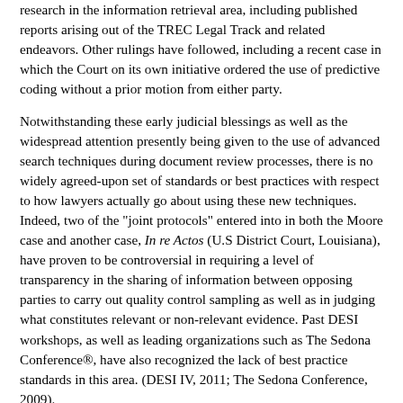research in the information retrieval area, including published reports arising out of the TREC Legal Track and related endeavors. Other rulings have followed, including a recent case in which the Court on its own initiative ordered the use of predictive coding without a prior motion from either party.
Notwithstanding these early judicial blessings as well as the widespread attention presently being given to the use of advanced search techniques during document review processes, there is no widely agreed-upon set of standards or best practices with respect to how lawyers actually go about using these new techniques. Indeed, two of the "joint protocols" entered into in both the Moore case and another case, In re Actos (U.S District Court, Louisiana), have proven to be controversial in requiring a level of transparency in the sharing of information between opposing parties to carry out quality control sampling as well as in judging what constitutes relevant or non-relevant evidence. Past DESI workshops, as well as leading organizations such as The Sedona Conference®, have also recognized the lack of best practice standards in this area. (DESI IV, 2011; The Sedona Conference, 2009).
The purpose of the DESI V workshop will be to continue to advance the discussion by providing a platform for the consideration of best practices in using predictive coding and other forms of machine learning algorithms. We invite participation from